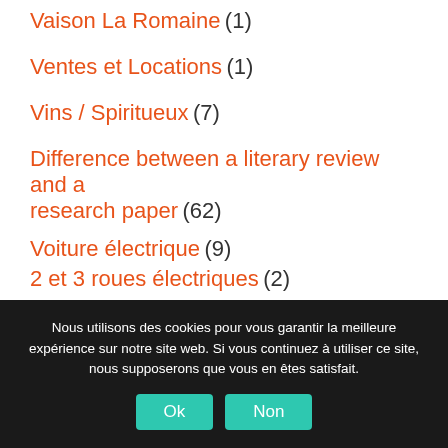Vaison La Romaine (1)
Ventes et Locations (1)
Vins / Spiritueux (7)
Difference between a literary review and a research paper (62)
Voiture électrique (9)
2 et 3 roues électriques (2)
Nous utilisons des cookies pour vous garantir la meilleure expérience sur notre site web. Si vous continuez à utiliser ce site, nous supposerons que vous en êtes satisfait.